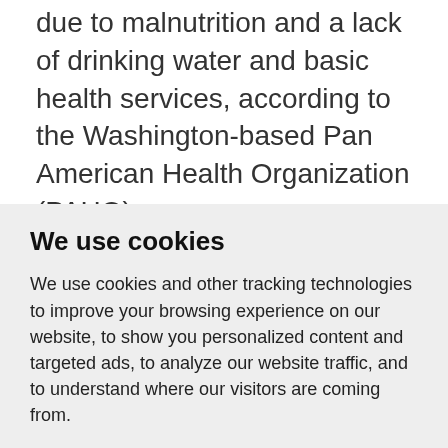due to malnutrition and a lack of drinking water and basic health services, according to the Washington-based Pan American Health Organization (PAHO).
BRAZIL HOTSPOT
Tribal groups in Brazil's Amazon have been
We use cookies
We use cookies and other tracking technologies to improve your browsing experience on our website, to show you personalized content and targeted ads, to analyze our website traffic, and to understand where our visitors are coming from.